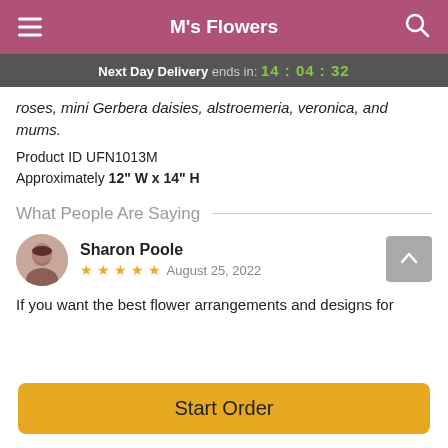M's Flowers
Next Day Delivery ends in: 14:04:32
roses, mini Gerbera daisies, alstroemeria, veronica, and mums.
Product ID UFN1013M
Approximately 12" W x 14" H
What People Are Saying
Sharon Poole
★★★★★  August 25, 2022
If you want the best flower arrangements and designs for